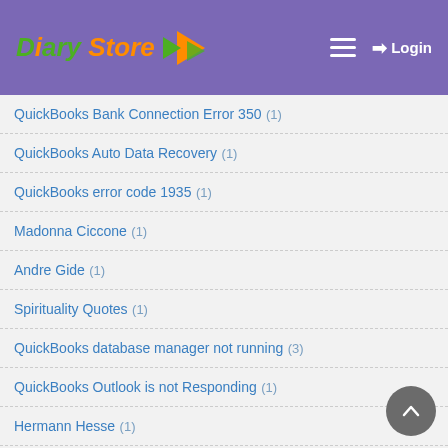Diary Store — Login
QuickBooks Bank Connection Error 350 (1)
QuickBooks Auto Data Recovery (1)
QuickBooks error code 1935 (1)
Madonna Ciccone (1)
Andre Gide (1)
Spirituality Quotes (1)
QuickBooks database manager not running (3)
QuickBooks Outlook is not Responding (1)
Hermann Hesse (1)
air cargo services (1)
File Doctor Error message 15270 (1)
Mary Anne Radmacher (1)